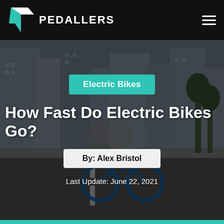PEDALLERS
[Figure (photo): Hero image of people riding electric bikes on an urban city street, with tall buildings and a crosswalk visible. The image has a dark overlay.]
Electric Bikes
How Fast Do Electric Bikes Go?
By: Alex Bristol
Last Update: June 22, 2021